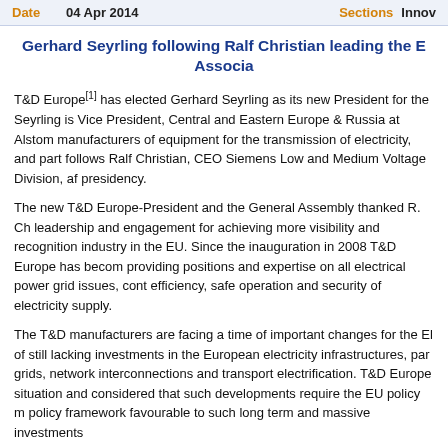Date  04 Apr 2014  Sections  Innov
Gerhard Seyrling following Ralf Christian leading the E... Associa...
T&D Europe[1] has elected Gerhard Seyrling as its new President for the... Seyrling is Vice President, Central and Eastern Europe & Russia at Alstom... manufacturers of equipment for the transmission of electricity, and part... follows Ralf Christian, CEO Siemens Low and Medium Voltage Division, af... presidency.
The new T&D Europe-President and the General Assembly thanked R. Ch... leadership and engagement for achieving more visibility and recognition... industry in the EU. Since the inauguration in 2008 T&D Europe has becom... providing positions and expertise on all electrical power grid issues, cont... efficiency, safe operation and security of electricity supply.
The T&D manufacturers are facing a time of important changes for the E... of still lacking investments in the European electricity infrastructures, pa... grids, network interconnections and transport electrification. T&D Europe... situation and considered that such developments require the EU policy m... policy framework favourable to such long term and massive investments...
Gerhard Seyrling stated: "T&D Europe members are convinced that d...